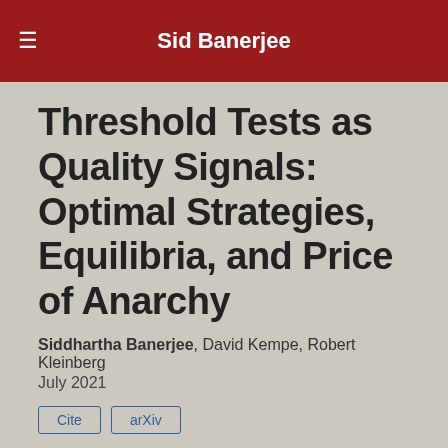Sid Banerjee
Threshold Tests as Quality Signals: Optimal Strategies, Equilibria, and Price of Anarchy
Siddhartha Banerjee, David Kempe, Robert Kleinberg
July 2021
Cite
arXiv
Abstract
We study a signaling game between two firms competing to have their product chosen by a principal. The products have (real-valued) qualities, which are drawn i.i.d. from a common